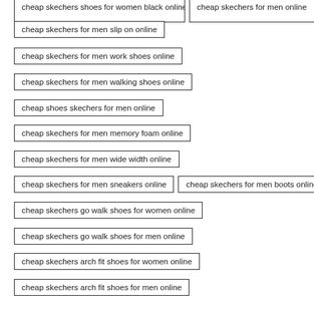cheap skechers shoes for women black online
cheap skechers for men online
cheap skechers for men slip on online
cheap skechers for men work shoes online
cheap skechers for men walking shoes online
cheap shoes skechers for men online
cheap skechers for men memory foam online
cheap skechers for men wide width online
cheap skechers for men sneakers online
cheap skechers for men boots online
cheap skechers go walk shoes for women online
cheap skechers go walk shoes for men online
cheap skechers arch fit shoes for women online
cheap skechers arch fit shoes for men online